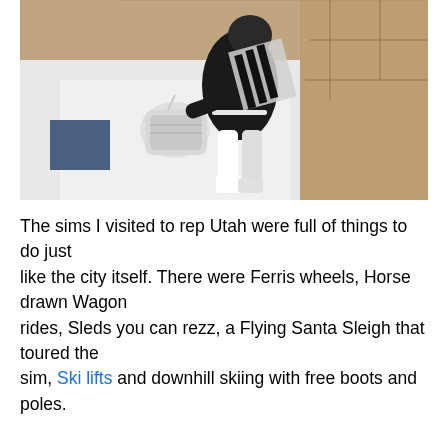[Figure (screenshot): A screenshot from a virtual world (Second Life or similar) showing an avatar character dressed in black with a white patterned scarf and holding a white bag, viewed from an overhead angle. The background shows a light floor with stone tile texture.]
The sims I visited to rep Utah were full of things to do just like the city itself. There were Ferris wheels, Horse drawn Wagon rides, Sleds you can rezz, a Flying Santa Sleigh that toured the sim, Ski lifts and downhill skiing with free boots and poles.